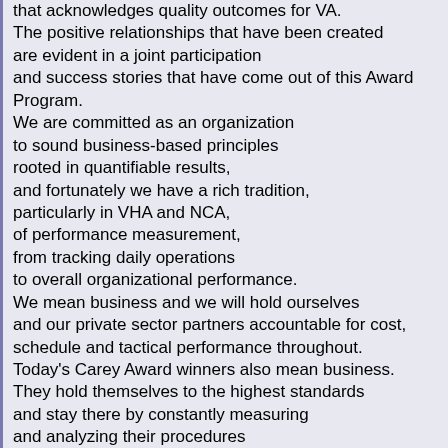that acknowledges quality outcomes for VA. The positive relationships that have been created are evident in a joint participation and success stories that have come out of this Award Program. We are committed as an organization to sound business-based principles rooted in quantifiable results, and fortunately we have a rich tradition, particularly in VHA and NCA, of performance measurement, from tracking daily operations to overall organizational performance. We mean business and we will hold ourselves and our private sector partners accountable for cost, schedule and tactical performance throughout. Today's Carey Award winners also mean business. They hold themselves to the highest standards and stay there by constantly measuring and analyzing their procedures in order to stay ahead of the quality curve. Now, we've discussed several aspects of Executive Order 13